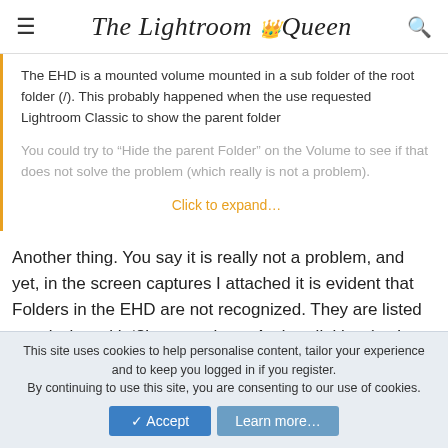The Lightroom Queen
The EHD is a mounted volume mounted in a sub folder of the root folder (/). This probably happened when the use requested Lightroom Classic to show the parent folder
You could try to “Hide the parent Folder” on the Volume to see if that does not solve the problem (which really is not a problem).
Click to expand...
Another thing. You say it is really not a problem, and yet, in the screen captures I attached it is evident that Folders in the EHD are not recognized. They are listed as missing with '?' next to them. And, re-linking (as I would usually do) does not work because the EHD is NOT a subfolder of the root folder so it is not possible to navigate to what the Lightroom catalog is looking for! It is definitely a problem
This site uses cookies to help personalise content, tailor your experience and to keep you logged in if you register.
By continuing to use this site, you are consenting to our use of cookies.